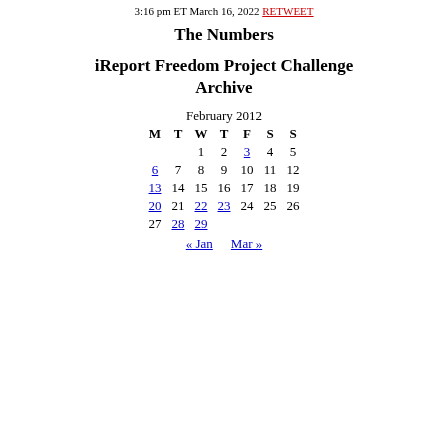3:16 pm ET March 16, 2022 RETWEET
The Numbers
iReport Freedom Project Challenge Archive
| M | T | W | T | F | S | S |
| --- | --- | --- | --- | --- | --- | --- |
|  |  | 1 | 2 | 3 | 4 | 5 |
| 6 | 7 | 8 | 9 | 10 | 11 | 12 |
| 13 | 14 | 15 | 16 | 17 | 18 | 19 |
| 20 | 21 | 22 | 23 | 24 | 25 | 26 |
| 27 | 28 | 29 |  |  |  |  |
« Jan   Mar »